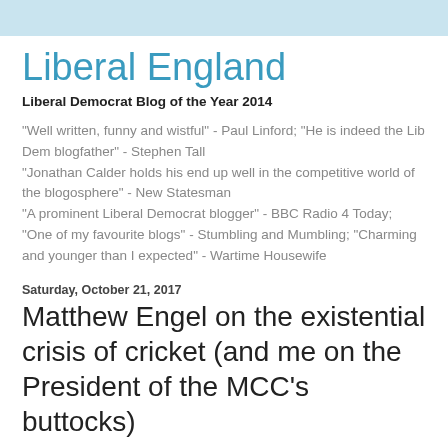Liberal England
Liberal Democrat Blog of the Year 2014
"Well written, funny and wistful" - Paul Linford; "He is indeed the Lib Dem blogfather" - Stephen Tall
"Jonathan Calder holds his end up well in the competitive world of the blogosphere" - New Statesman
"A prominent Liberal Democrat blogger" - BBC Radio 4 Today; "One of my favourite blogs" - Stumbling and Mumbling; "Charming and younger than I expected" - Wartime Housewife
Saturday, October 21, 2017
Matthew Engel on the existential crisis of cricket (and me on the President of the MCC's buttocks)